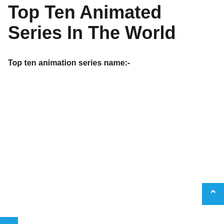Top Ten Animated Series In The World
Top ten animation series name:-